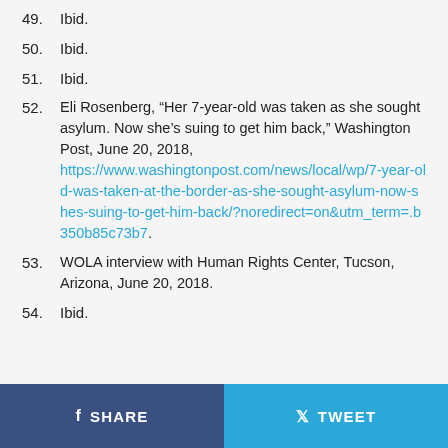49. Ibid.
50. Ibid.
51. Ibid.
52. Eli Rosenberg, “Her 7-year-old was taken as she sought asylum. Now she’s suing to get him back,” Washington Post, June 20, 2018, https://www.washingtonpost.com/news/local/wp/7-year-old-was-taken-at-the-border-as-she-sought-asylum-now-shes-suing-to-get-him-back/?noredirect=on&utm_term=.b350b85c73b7.
53. WOLA interview with Human Rights Center, Tucson, Arizona, June 20, 2018.
54. Ibid.
SHARE  TWEET